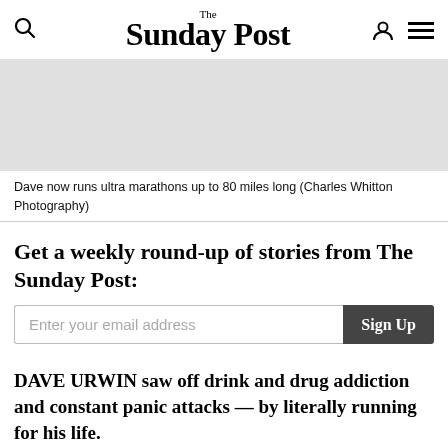The Sunday Post
[Figure (photo): Gray placeholder image representing a photo of Dave running]
Dave now runs ultra marathons up to 80 miles long (Charles Whitton Photography)
Get a weekly round-up of stories from The Sunday Post:
Enter your email address  Sign Up
DAVE URWIN saw off drink and drug addiction and constant panic attacks — by literally running for his life.